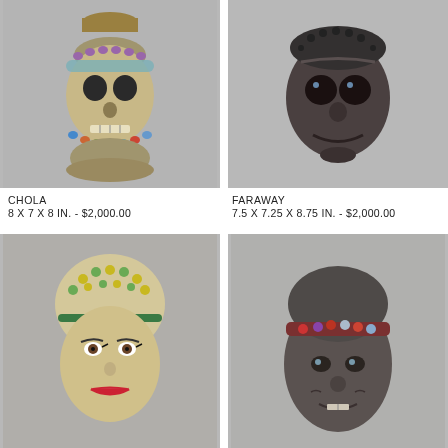[Figure (photo): Ceramic skull-faced vase with colorful beaded decoration and brass rim top, displayed against gray background]
[Figure (photo): Dark ceramic skull mask with textured beaded decoration on scalp, displayed against gray background]
CHOLA
8 X 7 X 8 IN. - $2,000.00
FARAWAY
7.5 X 7.25 X 8.75 IN. - $2,000.00
[Figure (photo): Ceramic head sculpture with colorful yellow and green beaded cap decoration and painted face, displayed against gray background]
[Figure (photo): Dark ceramic head sculpture with floral beaded headband decoration, displayed against gray background]